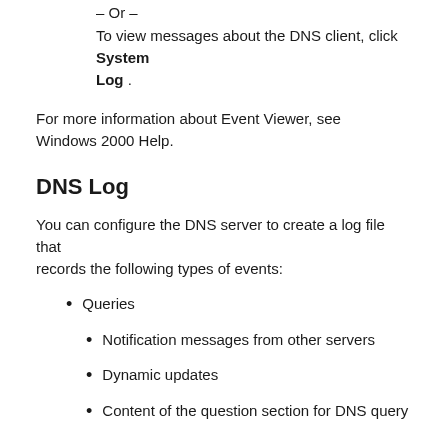Server .
– Or –
To view messages about the DNS client, click System Log .
For more information about Event Viewer, see Windows 2000 Help.
DNS Log
You can configure the DNS server to create a log file that records the following types of events:
Queries
Notification messages from other servers
Dynamic updates
Content of the question section for DNS query